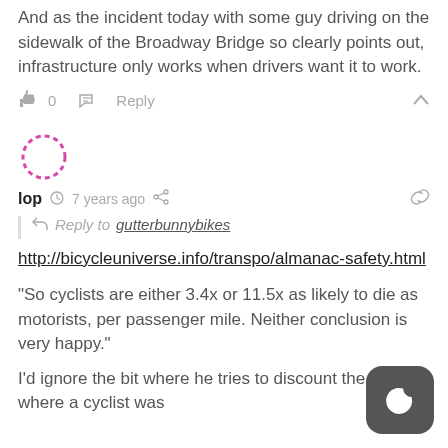And as the incident today with some guy driving on the sidewalk of the Broadway Bridge so clearly points out, infrastructure only works when drivers want it to work.
👍 0  ➤ Reply  ∧
[Figure (illustration): User avatar: circular dashed pink/magenta border with no profile picture]
lop  🕐 7 years ago  < share  🔗
Reply to gutterbunnybikes
http://bicycleuniverse.info/transpo/almanac-safety.html
"So cyclists are either 3.4x or 11.5x as likely to die as motorists, per passenger mile. Neither conclusion is very happy."
I'd ignore the bit where he tries to discount the cases where a cyclist was